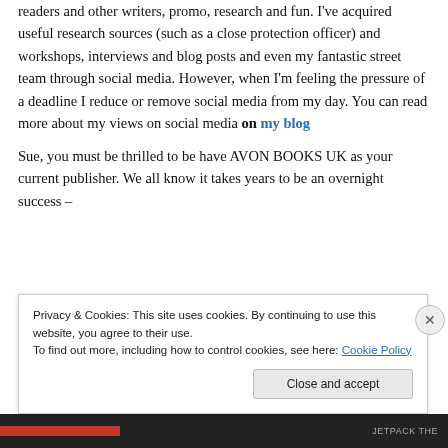readers and other writers, promo, research and fun. I've acquired useful research sources (such as a close protection officer) and workshops, interviews and blog posts and even my fantastic street team through social media. However, when I'm feeling the pressure of a deadline I reduce or remove social media from my day. You can read more about my views on social media on my blog
Sue, you must be thrilled to be have AVON BOOKS UK as your current publisher. We all know it takes years to be an overnight success –
Privacy & Cookies: This site uses cookies. By continuing to use this website, you agree to their use. To find out more, including how to control cookies, see here: Cookie Policy
Close and accept